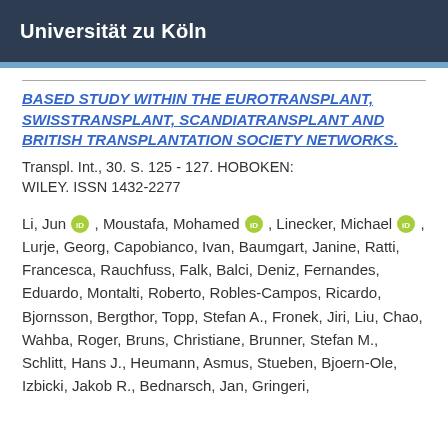Universität zu Köln
BASED STUDY WITHIN THE EUROTRANSPLANT, SWISSTRANSPLANT, SCANDIATRANSPLANT AND BRITISH TRANSPLANTATION SOCIETY NETWORKS.
Transpl. Int., 30. S. 125 - 127. HOBOKEN: WILEY. ISSN 1432-2277
Li, Jun, Moustafa, Mohamed, Linecker, Michael, Lurje, Georg, Capobianco, Ivan, Baumgart, Janine, Ratti, Francesca, Rauchfuss, Falk, Balci, Deniz, Fernandes, Eduardo, Montalti, Roberto, Robles-Campos, Ricardo, Bjornsson, Bergthor, Topp, Stefan A., Fronek, Jiri, Liu, Chao, Wahba, Roger, Bruns, Christiane, Brunner, Stefan M., Schlitt, Hans J., Heumann, Asmus, Stueben, Bjoern-Ole, Izbicki, Jakob R., Bednarsch, Jan, Gringeri,